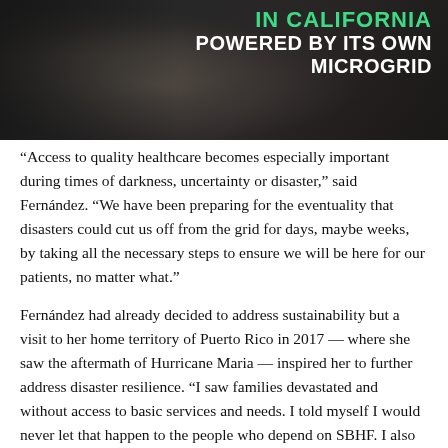[Figure (photo): Dark photo showing hands working at a desk/keyboard, with overlaid text title in green and white reading 'IN CALIFORNIA POWERED BY ITS OWN MICROGRID']
“Access to quality healthcare becomes especially important during times of darkness, uncertainty or disaster,” said Fernández. “We have been preparing for the eventuality that disasters could cut us off from the grid for days, maybe weeks, by taking all the necessary steps to ensure we will be here for our patients, no matter what.”
Fernández had already decided to address sustainability but a visit to her home territory of Puerto Rico in 2017 — where she saw the aftermath of Hurricane Maria — inspired her to further address disaster resilience. “I saw families devastated and without access to basic services and needs. I told myself I would never let that happen to the people who depend on SBHF. I also wanted to find a way for my organization to have a positive impact for our climate,” Fernández said.